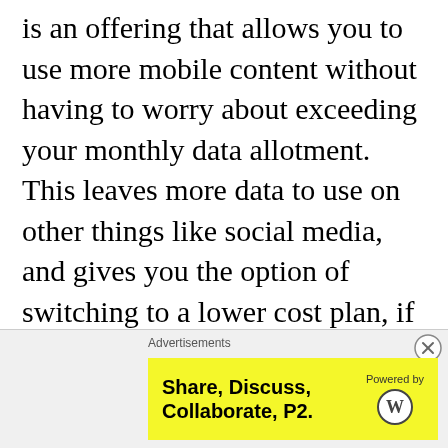is an offering that allows you to use more mobile content without having to worry about exceeding your monthly data allotment. This leaves more data to use on other things like social media, and gives you the option of switching to a lower cost plan, if you have too much data left over, because the content you love is covered by free data program. It's expanded opportunity at no cost. If you see that you can watch an unlimited amount of video as
[Figure (other): Advertisement banner with yellow background containing text 'Share, Discuss, Collaborate, P2.' and 'Powered by' with WordPress logo. A close (X) button appears in the top right of the overlay.]